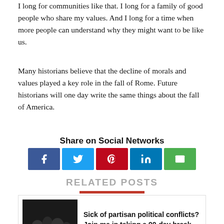I long for communities like that. I long for a family of good people who share my values. And I long for a time when more people can understand why they might want to be like us.
Many historians believe that the decline of morals and values played a key role in the fall of Rome. Future historians will one day write the same things about the fall of America.
Share on Social Networks
[Figure (infographic): Social share buttons: Facebook, Twitter, Pinterest, LinkedIn, Email]
RELATED POSTS
Sick of partisan political conflicts? Join me in taking a 90-day break